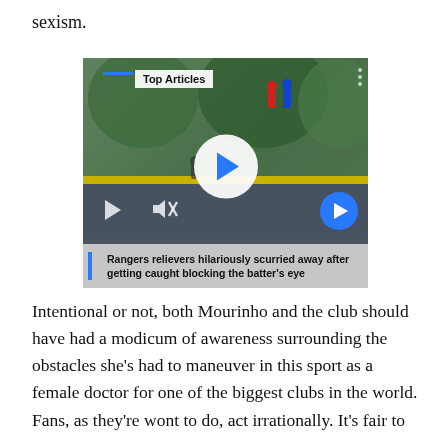sexism.
[Figure (screenshot): Video player screenshot showing baseball players near outfield wall. Overlay shows 'Top Articles' label, play button, mute button, arrow navigation button, and caption reading 'Rangers relievers hilariously scurried away after getting caught blocking the batter's eye']
Rangers relievers hilariously scurried away after getting caught blocking the batter's eye
Intentional or not, both Mourinho and the club should have had a modicum of awareness surrounding the obstacles she's had to maneuver in this sport as a female doctor for one of the biggest clubs in the world. Fans, as they're wont to do, act irrationally. It's fair to